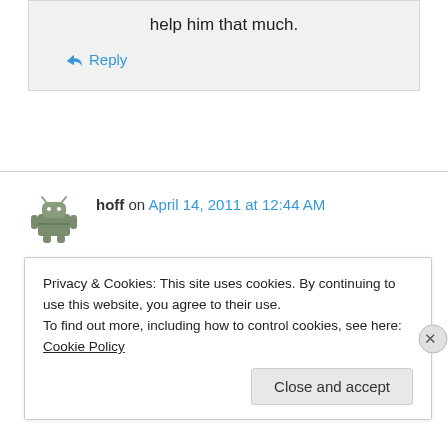help him that much.
↵ Reply
hoff on April 14, 2011 at 12:44 AM
👍 0 👎 0 ℹ
Privacy & Cookies: This site uses cookies. By continuing to use this website, you agree to their use.
To find out more, including how to control cookies, see here: Cookie Policy
Close and accept